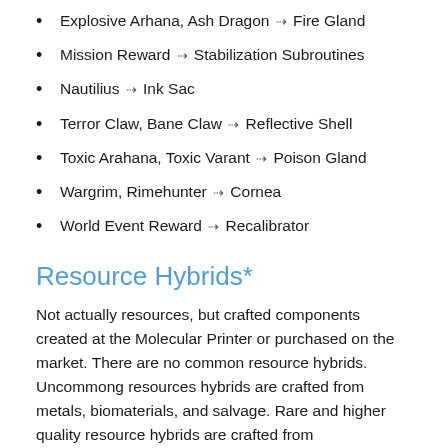Explosive Arhana, Ash Dragon ⇢ Fire Gland
Mission Reward ⇢ Stabilization Subroutines
Nautilius ⇢ Ink Sac
Terror Claw, Bane Claw ⇢ Reflective Shell
Toxic Arahana, Toxic Varant ⇢ Poison Gland
Wargrim, Rimehunter ⇢ Cornea
World Event Reward ⇢ Recalibrator
Resource Hybrids*
Not actually resources, but crafted components created at the Molecular Printer or purchased on the market. There are no common resource hybrids. Uncommong resources hybrids are crafted from metals, biomaterials, and salvage. Rare and higher quality resource hybrids are crafted from